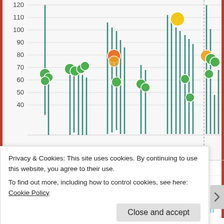[Figure (continuous-plot): Heart rate chart showing values between 40-120 bpm with vertical teal lines (range bars) and colored dots (green, orange, yellow) indicating data points at various times. Y-axis labels: 40, 50, 60, 70, 80, 90, 100, 110, 120.]
Activity
50 Steps/Min
[Figure (bar-chart): Activity bar chart showing steps per minute as light blue vertical bars across the time axis.]
Privacy & Cookies: This site uses cookies. By continuing to use this website, you agree to their use.
To find out more, including how to control cookies, see here: Cookie Policy